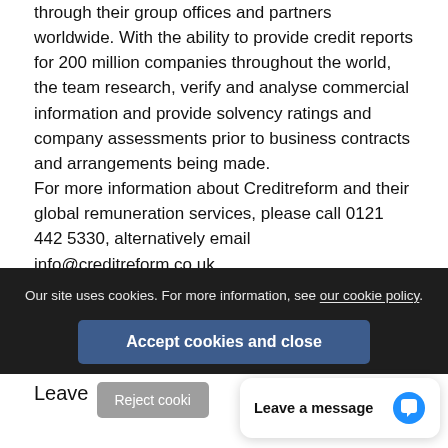through their group offices and partners worldwide. With the ability to provide credit reports for 200 million companies throughout the world, the team research, verify and analyse commercial information and provide solvency ratings and company assessments prior to business contracts and arrangements being made.
For more information about Creditreform and their global remuneration services, please call 0121 442 5330, alternatively email info@creditreform.co.uk.
Our site uses cookies. For more information, see our cookie policy.
Accept cookies and close
Leave
Reject cooki
Leave a message